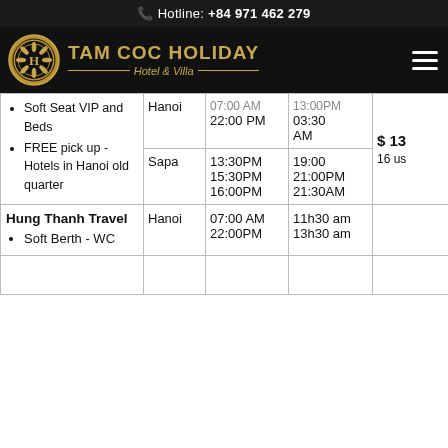Hotline: +84 971 462 279
[Figure (logo): Tam Coc Holiday Hotel & Villa logo with golden emblem]
| Features/Operator | Route | Departure | Arrival | Price |
| --- | --- | --- | --- | --- |
| Soft Seat VIP and Beds | FREE pick up - Hotels in Hanoi old quarter | Hanoi | 07:00 AM
22:00 PM | 13:00PM
03:30 AM | $13
16 us |
|  | Sapa | 13:30PM
15:30PM
16:00PM | 19:00
21:00PM
21:30AM |  |
| Hung Thanh Travel
Soft Berth - WC | Hanoi | 07:00 AM
22:00PM | 11h30 am
13h30 am |  |